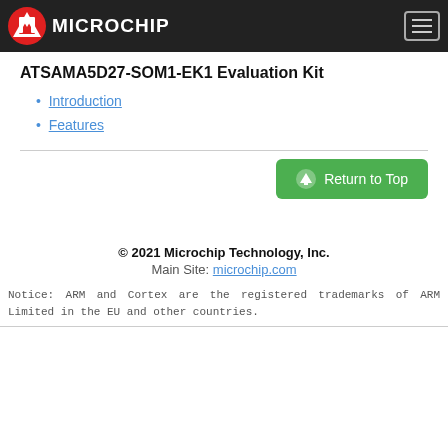Microchip
ATSAMA5D27-SOM1-EK1 Evaluation Kit
Introduction
Features
Return to Top
© 2021 Microchip Technology, Inc.
Main Site: microchip.com
Notice: ARM and Cortex are the registered trademarks of ARM Limited in the EU and other countries.